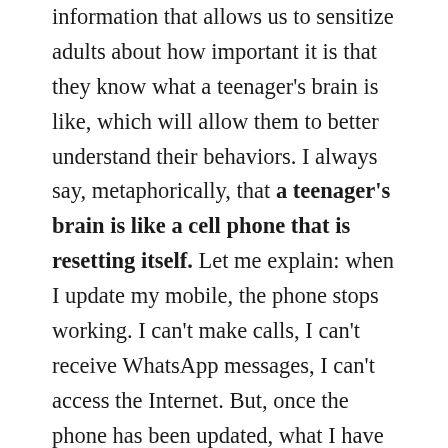information that allows us to sensitize adults about how important it is that they know what a teenager's brain is like, which will allow them to better understand their behaviors. I always say, metaphorically, that a teenager's brain is like a cell phone that is resetting itself. Let me explain: when I update my mobile, the phone stops working. I can't make calls, I can't receive WhatsApp messages, I can't access the Internet. But, once the phone has been updated, what I have is an improved version of my mobile. This is what happens in the brain of a teenager. The difference is that the mobile update takes a few minutes, and the brain update takes a few years, and this makes mothers and fathers desperate. Adolescence is that stage in which a